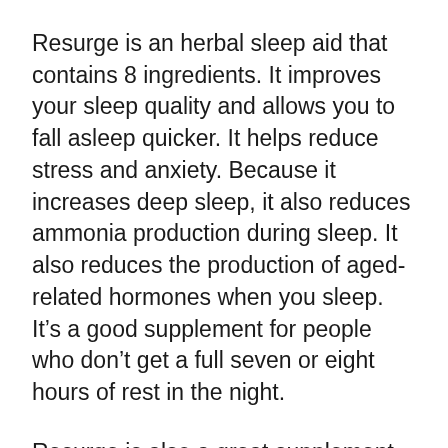Resurge is an herbal sleep aid that contains 8 ingredients. It improves your sleep quality and allows you to fall asleep quicker. It helps reduce stress and anxiety. Because it increases deep sleep, it also reduces ammonia production during sleep. It also reduces the production of aged-related hormones when you sleep. It’s a good supplement for people who don’t get a full seven or eight hours of rest in the night.
Resurge is also a great supplement for people who do not want to adhere to the diet or adhere to a strict regimen. It works by enhancing the natural psychological aspects of sleep by increasing your energy levels and assisting you to fall asleep. It’s got